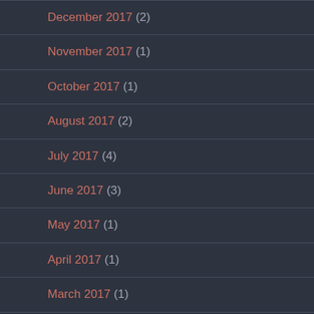December 2017 (2)
November 2017 (1)
October 2017 (1)
August 2017 (2)
July 2017 (4)
June 2017 (3)
May 2017 (1)
April 2017 (1)
March 2017 (1)
October 2016 (1)
June 2016 (1)